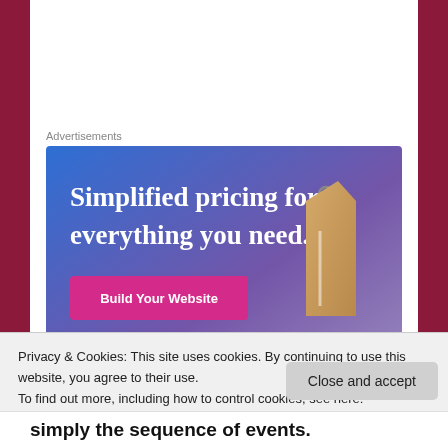Advertisements
[Figure (illustration): Advertisement banner with gradient blue-to-purple background showing 'Simplified pricing for everything you need.' with a pink 'Build Your Website' button and a price tag image on the right.]
The two biggest arenas in this argument usually
Privacy & Cookies: This site uses cookies. By continuing to use this website, you agree to their use.
To find out more, including how to control cookies, see here:
Cookie Policy
Close and accept
simply the sequence of events.